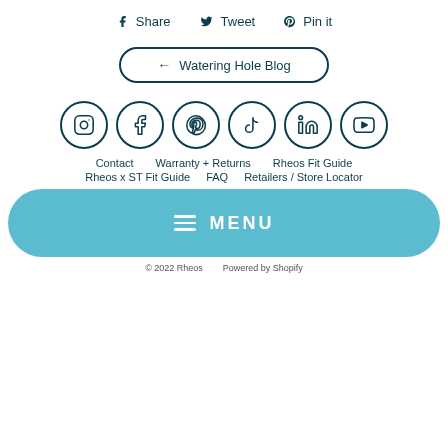Share
Tweet
Pin it
← Watering Hole Blog
[Figure (infographic): Row of 6 social media icon circles: Instagram, Facebook, Pinterest, TikTok, LinkedIn, YouTube]
Contact   Warranty + Returns   Rheos Fit Guide
Rheos x ST Fit Guide   FAQ   Retailers / Store Locator
MENU
© 2022 Rheos   Powered by Shopify